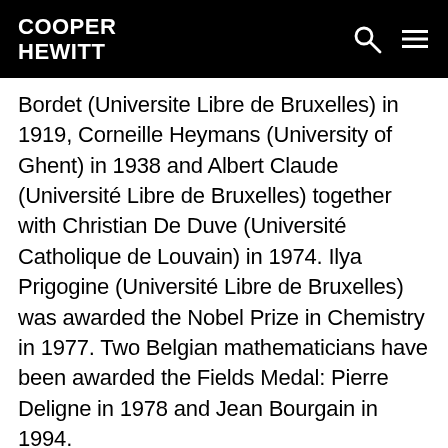COOPER HEWITT
Bordet (Universite Libre de Bruxelles) in 1919, Corneille Heymans (University of Ghent) in 1938 and Albert Claude (Université Libre de Bruxelles) together with Christian De Duve (Université Catholique de Louvain) in 1974. Ilya Prigogine (Université Libre de Bruxelles) was awarded the Nobel Prize in Chemistry in 1977. Two Belgian mathematicians have been awarded the Fields Medal: Pierre Deligne in 1978 and Jean Bourgain in 1994.